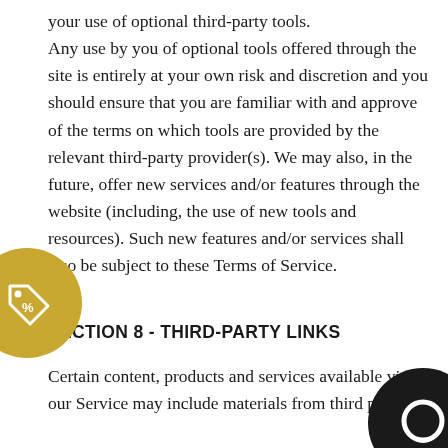your use of optional third-party tools. Any use by you of optional tools offered through the site is entirely at your own risk and discretion and you should ensure that you are familiar with and approve of the terms on which tools are provided by the relevant third-party provider(s). We may also, in the future, offer new services and/or features through the website (including, the use of new tools and resources). Such new features and/or services shall also be subject to these Terms of Service.
SECTION 8 - THIRD-PARTY LINKS
Certain content, products and services available via our Service may include materials from third parties.
Third-party links on this site may direct you to...